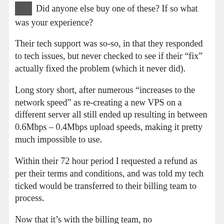Did anyone else buy one of these? If so what was your experience?
Their tech support was so-so, in that they responded to tech issues, but never checked to see if their “fix” actually fixed the problem (which it never did).
Long story short, after numerous “increases to the network speed” as re-creating a new VPS on a different server all still ended up resulting in between 0.6Mbps – 0.4Mbps upload speeds, making it pretty much impossible to use.
Within their 72 hour period I requested a refund as per their terms and conditions, and was told my tech ticked would be transferred to their billing team to process.
Now that it’s with the billing team, no...